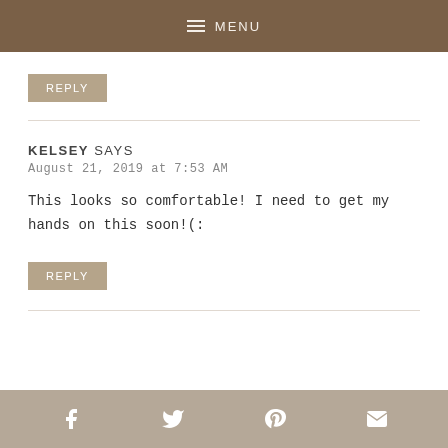≡ MENU
REPLY
KELSEY SAYS
August 21, 2019 at 7:53 AM
This looks so comfortable! I need to get my hands on this soon!(:
REPLY
Social share icons: Facebook, Twitter, Pinterest, Email